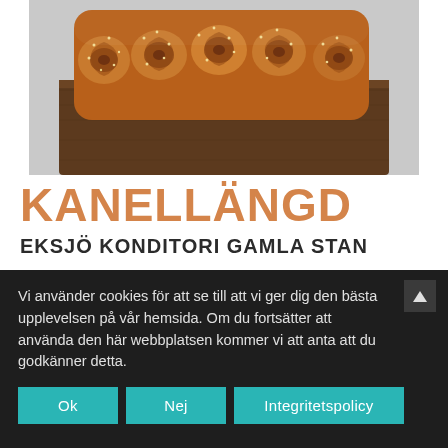[Figure (photo): Photo of a kanelbullar (cinnamon roll bread/kanellängd) on a wooden board, viewed from above and side angle, with sesame seeds on top, golden brown color]
KANELLÄNGD
EKSJÖ KONDITORI GAMLA STAN
Vi använder cookies för att se till att vi ger dig den bästa upplevelsen på vår hemsida. Om du fortsätter att använda den här webbplatsen kommer vi att anta att du godkänner detta.
Ok
Nej
Integritetspolicy